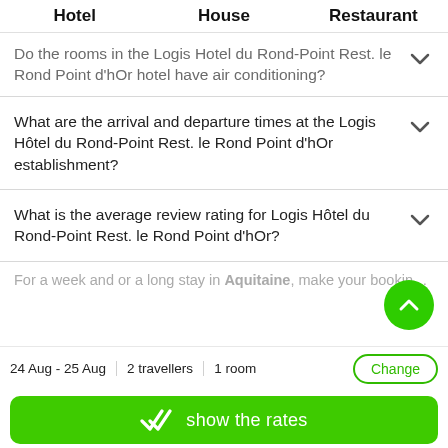Hotel   House   Restaurant
Do the rooms in the Logis Hotel du Rond-Point Rest. le Rond Point d'hOr hotel have air conditioning?
What are the arrival and departure times at the Logis Hôtel du Rond-Point Rest. le Rond Point d'hOr establishment?
What is the average review rating for Logis Hôtel du Rond-Point Rest. le Rond Point d'hOr?
For a week and or a long stay in Aquitaine, make your booking in
24 Aug - 25 Aug   2 travellers   1 room   Change
show the rates